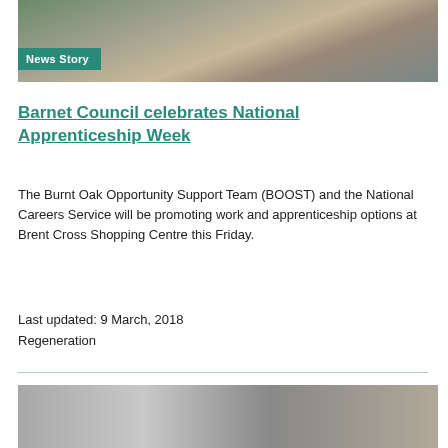[Figure (photo): People at a market stall or community event with colourful items on a table; indoor shopping centre setting]
News Story
Barnet Council celebrates National Apprenticeship Week
The Burnt Oak Opportunity Support Team (BOOST) and the National Careers Service will be promoting work and apprenticeship options at Brent Cross Shopping Centre this Friday.
Last updated: 9 March, 2018
Regeneration
[Figure (photo): A person standing next to or near a vehicle, outdoors near a building with ornate architecture]